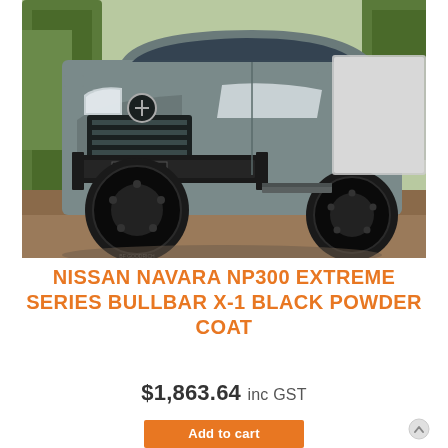[Figure (photo): A grey Nissan Navara NP300 pickup truck with a black bullbar X-1 on the front, large off-road tyres with black rims, photographed outdoors among trees.]
NISSAN NAVARA NP300 EXTREME SERIES BULLBAR X-1 BLACK POWDER COAT
$1,863.64 inc GST
Add to cart